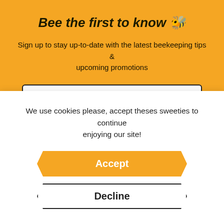Bee the first to know 🐝
Sign up to stay up-to-date with the latest beekeeping tips & upcoming promotions
[Figure (screenshot): Email address input field with placeholder text 'Email address']
We use cookies please, accept theses sweeties to continue enjoying our site!
Accept
Decline